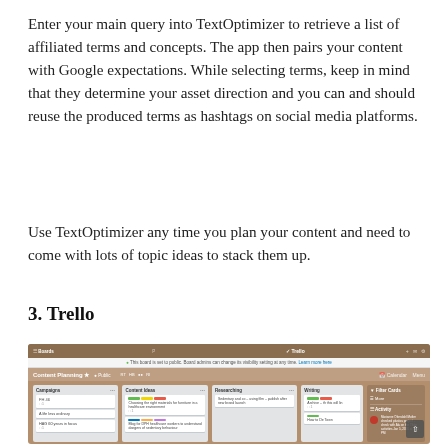Enter your main query into TextOptimizer to retrieve a list of affiliated terms and concepts. The app then pairs your content with Google expectations. While selecting terms, keep in mind that they determine your asset direction and you can and should reuse the produced terms as hashtags on social media platforms.
Use TextOptimizer any time you plan your content and need to come with lots of topic ideas to stack them up.
3. Trello
[Figure (screenshot): Screenshot of Trello board showing a Content Planning board with columns: Campaigns, Content Ideas, Researching, Writing, and a right panel with Filter Cards, More, and Activity sections. Cards visible include items about healthcare furniture, DPH healthcare workers, and more. A scroll-to-top button is visible in the bottom right.]